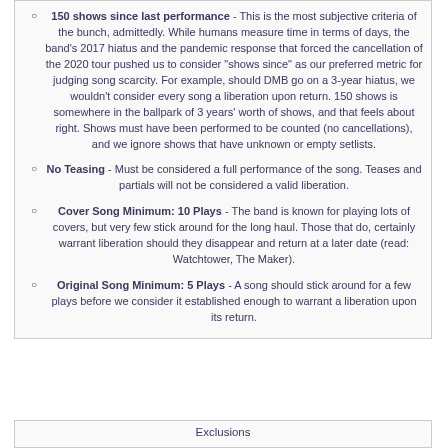150 shows since last performance - This is the most subjective criteria of the bunch, admittedly. While humans measure time in terms of days, the band's 2017 hiatus and the pandemic response that forced the cancellation of the 2020 tour pushed us to consider "shows since" as our preferred metric for judging song scarcity. For example, should DMB go on a 3-year hiatus, we wouldn't consider every song a liberation upon return. 150 shows is somewhere in the ballpark of 3 years' worth of shows, and that feels about right. Shows must have been performed to be counted (no cancellations), and we ignore shows that have unknown or empty setlists.
No Teasing - Must be considered a full performance of the song. Teases and partials will not be considered a valid liberation.
Cover Song Minimum: 10 Plays - The band is known for playing lots of covers, but very few stick around for the long haul. Those that do, certainly warrant liberation should they disappear and return at a later date (read: Watchtower, The Maker).
Original Song Minimum: 5 Plays - A song should stick around for a few plays before we consider it established enough to warrant a liberation upon its return.
Exclusions